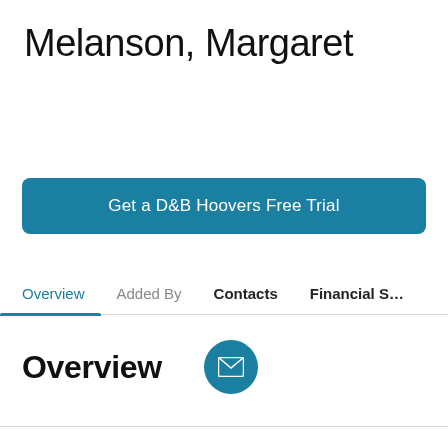Melanson, Margaret
Get a D&B Hoovers Free Trial
Overview  Added By  Contacts  Financial S…
Overview
[Figure (illustration): Circular teal email/envelope icon button]